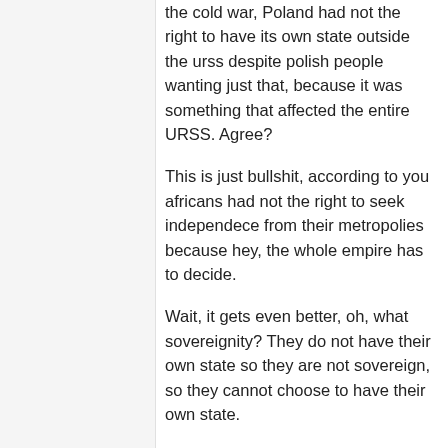the cold war, Poland had not the right to have its own state outside the urss despite polish people wanting just that, because it was something that affected the entire URSS. Agree?
This is just bullshit, according to you africans had not the right to seek independece from their metropolies because hey, the whole empire has to decide.
Wait, it gets even better, oh, what sovereignity? They do not have their own state so they are not sovereign, so they cannot choose to have their own state.
Genius. The master of tautologies